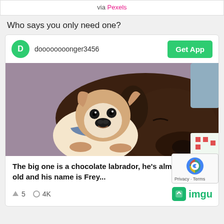via Pexels
Who says you only need one?
[Figure (screenshot): Imgur post card showing username dooooooooonger3456 with Get App button, photo of a small French Bulldog puppy and a large chocolate Labrador resting on a purple couch. Caption: The big one is a chocolate labrador, he's almost 2 years old and his name is Frey... Upvotes: 5, Views: 4K, Imgur logo]
The big one is a chocolate labrador, he's almost 2 years old and his name is Frey...
5   4K